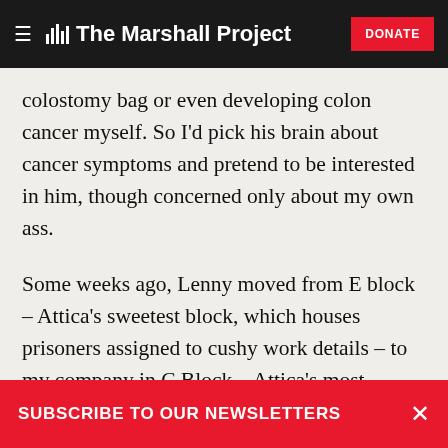The Marshall Project
colostomy bag or even developing colon cancer myself. So I’d pick his brain about cancer symptoms and pretend to be interested in him, though concerned only about my own ass.
Some weeks ago, Lenny moved from E block – Attica’s sweetest block, which houses prisoners assigned to cushy work details – to my company in C Block – Attica’s most notorious block, a bellicose environment where the toughest guards operate under a mantra: security…security…security. Lenny told me he
SUBSCRIBE TO OUR NEWSLETTERS